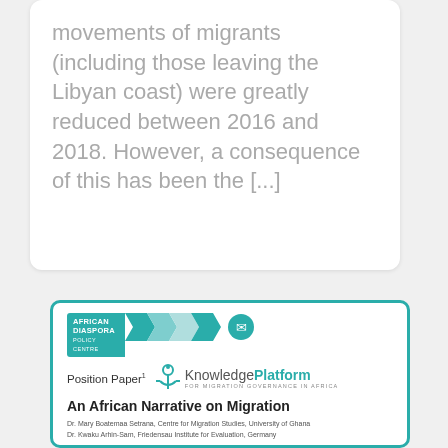movements of migrants (including those leaving the Libyan coast) were greatly reduced between 2016 and 2018. However, a consequence of this has been the [...]
[Figure (other): Card showing African Diaspora Policy Centre banner with teal arrows and circle icon, KnowledgePlatform for Migration Governance in Africa logo with anchor icon, 'Position Paper 1' label, title 'An African African Narrative on Migration', and author names Dr. Mary Boaternal Setrana and Dr. Kwaku Arhin-Sam.]